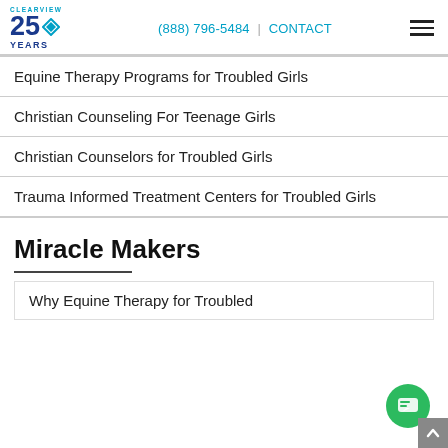CLEARVIEW 25 YEARS | (888) 796-5484 | CONTACT
Equine Therapy Programs for Troubled Girls
Christian Counseling For Teenage Girls
Christian Counselors for Troubled Girls
Trauma Informed Treatment Centers for Troubled Girls
Miracle Makers
Why Equine Therapy for Troubled